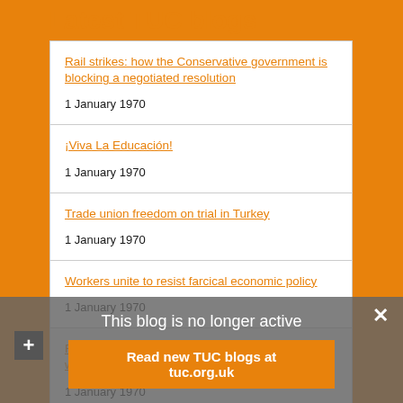Latest TUC blogs
Rail strikes: how the Conservative government is blocking a negotiated resolution
1 January 1970
¡Viva La Educación!
1 January 1970
Trade union freedom on trial in Turkey
1 January 1970
Workers unite to resist farcical economic policy
1 January 1970
Forget drill, baby, drill: how America is leading the way in affordable energy
1 January 1970
This blog is no longer active
Read new TUC blogs at tuc.org.uk